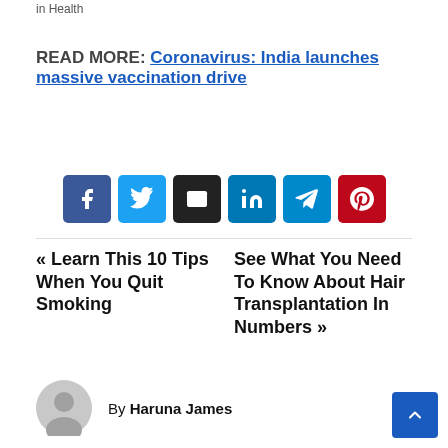in  Health
READ MORE:  Coronavirus: India launches massive vaccination drive
[Figure (other): Social share buttons: Facebook, Twitter, Email, LinkedIn, Telegram, Pinterest]
« Learn This 10 Tips When You Quit Smoking
See What You Need To Know About Hair Transplantation In Numbers »
By Haruna James
[Figure (other): Scroll to top button (blue arrow up)]